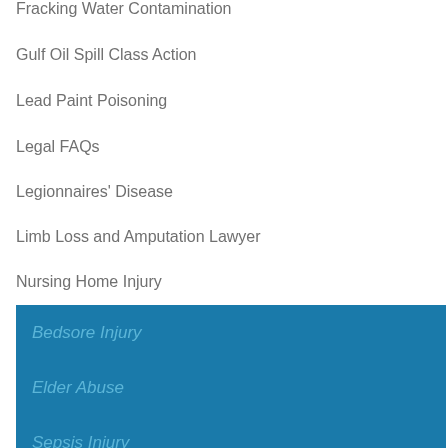Fracking Water Contamination
Gulf Oil Spill Class Action
Lead Paint Poisoning
Legal FAQs
Legionnaires' Disease
Limb Loss and Amputation Lawyer
Nursing Home Injury
Bedsore Injury
Elder Abuse
Sepsis Injury